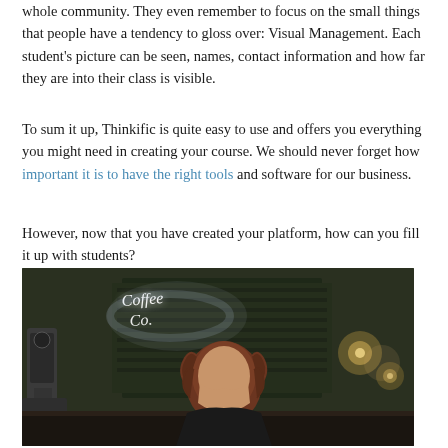whole community. They even remember to focus on the small things that people have a tendency to gloss over: Visual Management. Each student's picture can be seen, names, contact information and how far they are into their class is visible.
To sum it up, Thinkific is quite easy to use and offers you everything you might need in creating your course. We should never forget how important it is to have the right tools and software for our business.
However, now that you have created your platform, how can you fill it up with students?
[Figure (photo): A woman with curly red/auburn hair sitting or leaning at a table in a dark cafe or bar setting with a glowing neon sign in the background and bokeh lights.]